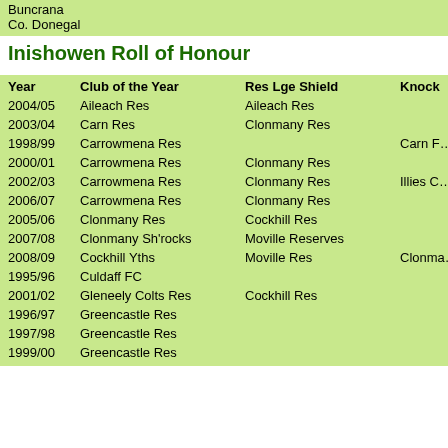Buncrana
Co. Donegal
Inishowen Roll of Honour
| Year | Club of the Year | Res Lge Shield | Knock... |
| --- | --- | --- | --- |
| 2004/05 | Aileach Res | Aileach Res |  |
| 2003/04 | Carn Res | Clonmany Res |  |
| 1998/99 | Carrowmena Res |  | Carn F... |
| 2000/01 | Carrowmena Res | Clonmany Res |  |
| 2002/03 | Carrowmena Res | Clonmany Res | Illies C... |
| 2006/07 | Carrowmena Res | Clonmany Res |  |
| 2005/06 | Clonmany Res | Cockhill Res |  |
| 2007/08 | Clonmany Sh'rocks | Moville Reserves |  |
| 2008/09 | Cockhill Yths | Moville Res | Clonma... |
| 1995/96 | Culdaff FC |  |  |
| 2001/02 | Gleneely Colts Res | Cockhill Res |  |
| 1996/97 | Greencastle Res |  |  |
| 1997/98 | Greencastle Res |  |  |
| 1999/00 | Greencastle Res |  |  |